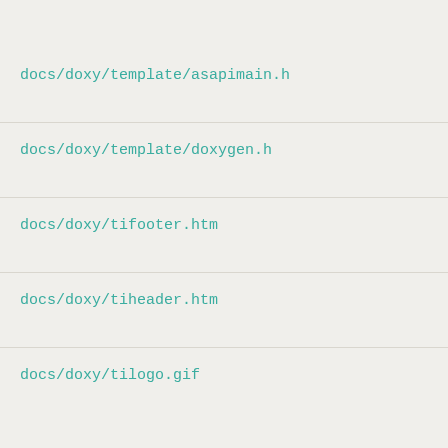docs/doxy/template/asapimain.h
docs/doxy/template/doxygen.h
docs/doxy/tifooter.htm
docs/doxy/tiheader.htm
docs/doxy/tilogo.gif